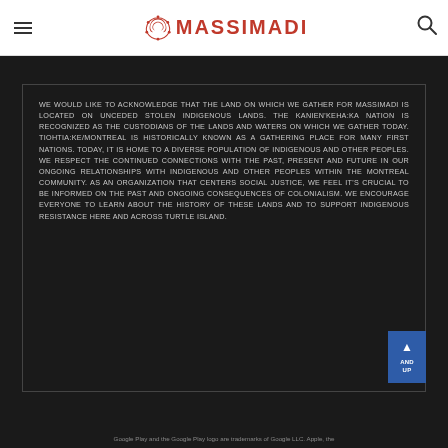MASSIMADI
WE WOULD LIKE TO ACKNOWLEDGE THAT THE LAND ON WHICH WE GATHER FOR MASSIMADI IS LOCATED ON UNCEDED STOLEN INDIGENOUS LANDS. THE KANIEN'KEHA:KA NATION IS RECOGNIZED AS THE CUSTODIANS OF THE LANDS AND WATERS ON WHICH WE GATHER TODAY. TIOHTIA:KE/MONTREAL IS HISTORICALLY KNOWN AS A GATHERING PLACE FOR MANY FIRST NATIONS. TODAY, IT IS HOME TO A DIVERSE POPULATION OF INDIGENOUS AND OTHER PEOPLES. WE RESPECT THE CONTINUED CONNECTIONS WITH THE PAST, PRESENT AND FUTURE IN OUR ONGOING RELATIONSHIPS WITH INDIGENOUS AND OTHER PEOPLES WITHIN THE MONTREAL COMMUNITY. AS AN ORGANIZATION THAT CENTERS SOCIAL JUSTICE, WE FEEL IT'S CRUCIAL TO BE INFORMED ON THE PAST AND ONGOING CONSEQUENCES OF COLONIALISM. WE ENCOURAGE EVERYONE TO LEARN ABOUT THE HISTORY OF THESE LANDS AND TO SUPPORT INDIGENOUS RESISTANCE HERE AND ACROSS TURTLE ISLAND.
Google Play and the Google Play logo are trademarks of Google LLC. Apple, the